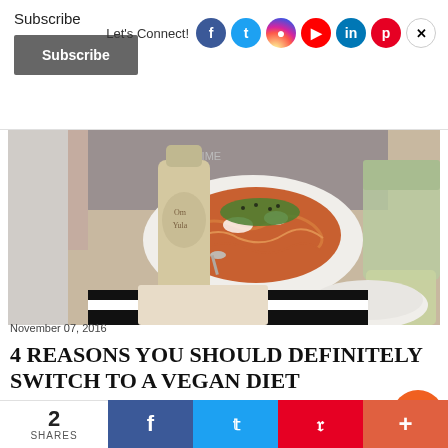Subscribe
Subscribe
Let's Connect!
[Figure (photo): A plate of pasta with toppings, a bottle, cups with drinks on a restaurant table]
November 07, 2016
4 REASONS YOU SHOULD DEFINITELY SWITCH TO A VEGAN DIET
Share
2
SHARES